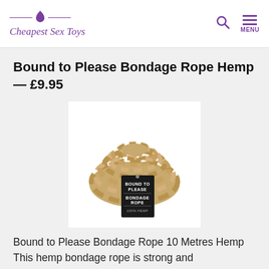Cheapest Sex Toys
Bound to Please Bondage Rope Hemp — £9.95
[Figure (photo): Coiled hemp bondage rope with a black product tag reading 'BOUND TO PLEASE BONDAGE ROPE 100% HEMP']
Bound to Please Bondage Rope 10 Metres Hemp This hemp bondage rope is strong and